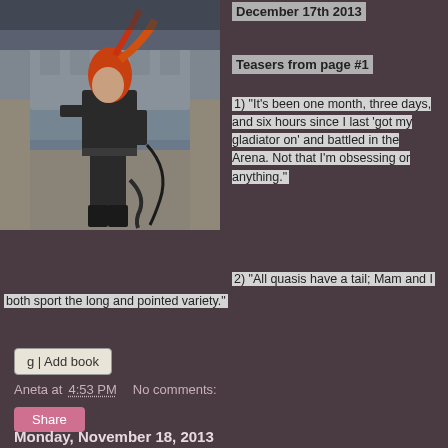[Figure (illustration): Book cover illustration showing a woman in a black bodysuit with red/orange hair holding a whip in a gladiator arena setting]
December 17th 2013
Teasers from page #1
1) "It's been one month, three days, and six hours since I last 'got my gladiator on' and battled in the Arena. Not that I'm obsessing or anything."
2) "All quasis have a tail; Mam and I both sport the long and pointed variety."
g | Add book
Aneta at 4:53 PM    No comments:
Share
Monday, November 18, 2013